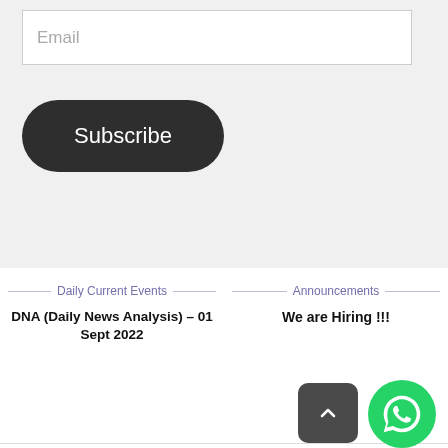Email
Subscribe
Daily Current Events
Announcements
DNA (Daily News Analysis) – 01 Sept 2022
We are Hiring !!!